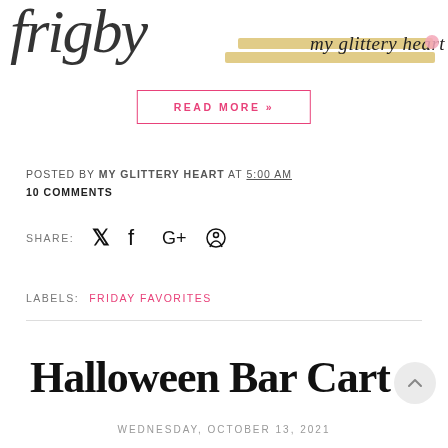[Figure (logo): My Glittery Heart blog logo with handwritten script text and gold highlighter strokes]
READ MORE »
POSTED BY MY GLITTERY HEART AT 5:00 AM
10 COMMENTS
SHARE:  🐦  f  G+
LABELS:  FRIDAY FAVORITES
Halloween Bar Cart
WEDNESDAY, OCTOBER 13, 2021